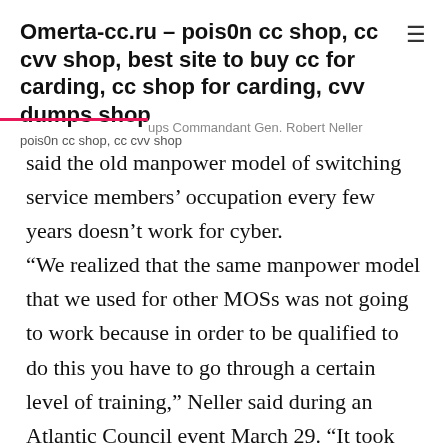Omerta-cc.ru – pois0n cc shop, cc cvv shop, best site to buy cc for carding, cc shop for carding, cvv dumps shop
pois0n cc shop, cc cvv shop
said the old manpower model of switching service members' occupation every few years doesn't work for cyber. “We realized that the same manpower model that we used for other MOSs was not going to work because in order to be qualified to do this you have to go through a certain level of training,” Neller said during an Atlantic Council event March 29. “It took time and it wasn’t something that a very junior 18- or 19-year-old right out of high school was going to be able to